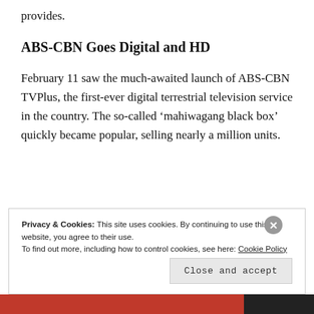provides.
ABS-CBN Goes Digital and HD
February 11 saw the much-awaited launch of ABS-CBN TVPlus, the first-ever digital terrestrial television service in the country. The so-called ‘mahiwagang black box’ quickly became popular, selling nearly a million units.
Privacy & Cookies: This site uses cookies. By continuing to use this website, you agree to their use. To find out more, including how to control cookies, see here: Cookie Policy
Close and accept